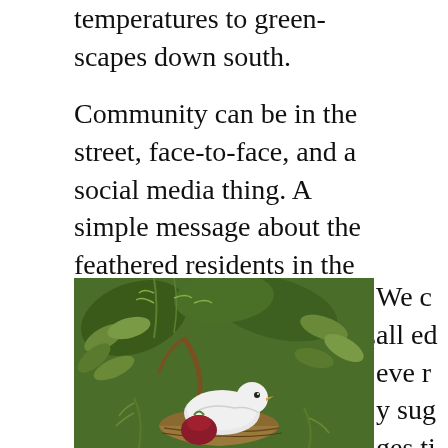temperatures to green-scapes down south.
Community can be in the street, face-to-face, and a social media thing. A simple message about the feathered residents in the bay and contacts were provided that just might be able to help.
[Figure (photo): A white bird (pigeon/dove) nestled among green foliage and herbs, sitting in a nest with a red onion visible, surrounded by lush herb plants including what appear to be bay leaves and dill.]
We called every suggestio